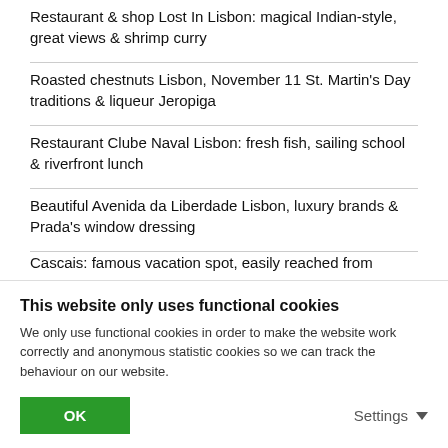Restaurant & shop Lost In Lisbon: magical Indian-style, great views & shrimp curry
Roasted chestnuts Lisbon, November 11 St. Martin's Day traditions & liqueur Jeropiga
Restaurant Clube Naval Lisbon: fresh fish, sailing school & riverfront lunch
Beautiful Avenida da Liberdade Lisbon, luxury brands & Prada's window dressing
Cascais: famous vacation spot, easily reached from
This website only uses functional cookies
We only use functional cookies in order to make the website work correctly and anonymous statistic cookies so we can track the behaviour on our website.
OK
Settings